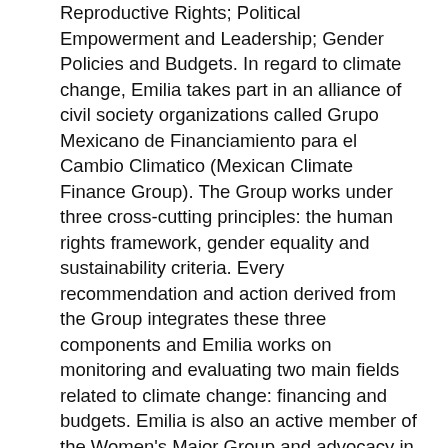Reproductive Rights; Political Empowerment and Leadership; Gender Policies and Budgets. In regard to climate change, Emilia takes part in an alliance of civil society organizations called Grupo Mexicano de Financiamiento para el Cambio Climatico (Mexican Climate Finance Group). The Group works under three cross-cutting principles: the human rights framework, gender equality and sustainability criteria. Every recommendation and action derived from the Group integrates these three components and Emilia works on monitoring and evaluating two main fields related to climate change: financing and budgets. Emilia is also an active member of the Women's Major Group and advocacy in the Open Working Group on